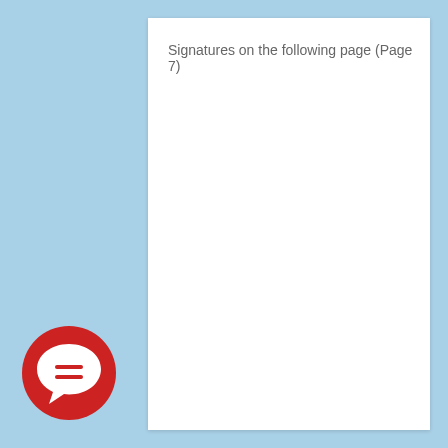Signatures on the following page (Page 7)
[Figure (logo): Red circular chat/message bubble icon with white speech bubble and equals sign inside]